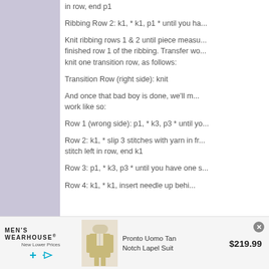in row, end p1
Ribbing Row 2: k1, * k1, p1 * until you ha...
Knit ribbing rows 1 & 2 until piece measu... finished row 1 of the ribbing. Transfer wo... knit one transition row, as follows:
Transition Row (right side): knit
And once that bad boy is done, we'll m... work like so:
Row 1 (wrong side): p1, * k3, p3 * until yo...
Row 2: k1, * slip 3 stitches with yarn in fr... stitch left in row, end k1
Row 3: p1, * k3, p3 * until you have one s...
Row 4: k1, * k1, insert needle up behi...
[Figure (screenshot): Advertisement banner for Men's Wearhouse featuring Pronto Uomo Tan Notch Lapel Suit at $219.99]